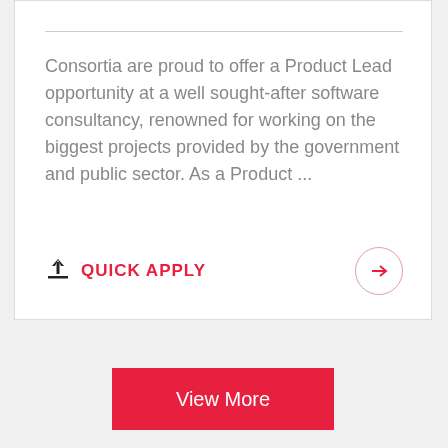Consortia are proud to offer a Product Lead opportunity at a well sought-after software consultancy, renowned for working on the biggest projects provided by the government and public sector. As a Product ...
QUICK APPLY
View More